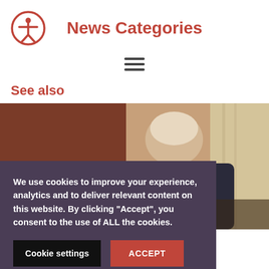News Categories
[Figure (other): Hamburger menu icon with three horizontal lines]
See also
[Figure (photo): An elderly person sitting at a computer, seen from behind, with curtains in the background]
We use cookies to improve your experience, analytics and to deliver relevant content on this website. By clicking “Accept”, you consent to the use of ALL the cookies.
Cookie settings
ACCEPT
ive from Scammers